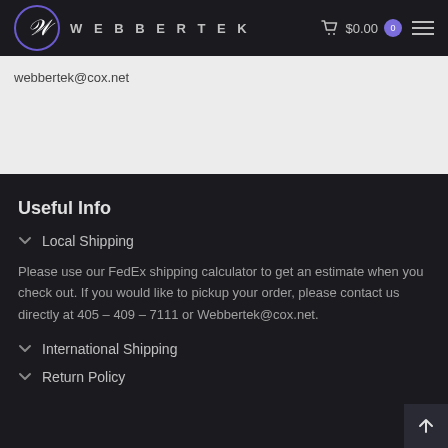WEBBERTEK — $0.00
webbertek@cox.net
Useful Info
Local Shipping
Please use our FedEx shipping calculator to get an estimate when you check out. If you would like to pickup your order, please contact us directly at 405 – 409 – 7111 or Webbertek@cox.net.
International Shipping
Return Policy